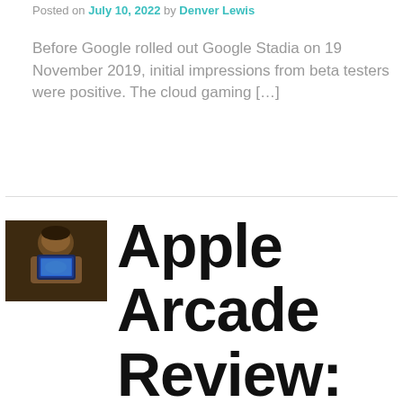Posted on July 10, 2022 by Denver Lewis
Before Google rolled out Google Stadia on 19 November 2019, initial impressions from beta testers were positive. The cloud gaming […]
[Figure (photo): Thumbnail image of a person holding a mobile device, used as article thumbnail for Apple Arcade Review]
Apple Arcade Review: Pros and Cons